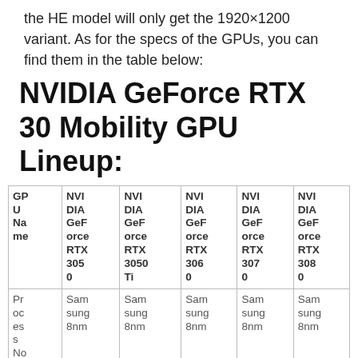the HE model will only get the 1920×1200 variant. As for the specs of the GPUs, you can find them in the table below:
NVIDIA GeForce RTX 30 Mobility GPU Lineup:
| GPU Name | NVIDIA GeForce RTX 3050 | NVIDIA GeForce RTX 3050 Ti | NVIDIA GeForce RTX 3060 | NVIDIA GeForce RTX 3070 | NVIDIA GeForce RTX 3080 |
| --- | --- | --- | --- | --- | --- |
| Process Node | Samsung 8nm | Samsung 8nm | Samsung 8nm | Samsung 8nm | Samsung 8nm |
| GPU Die | GA107? | GA107? | GA106 | GA104-??? | GA104-??? |